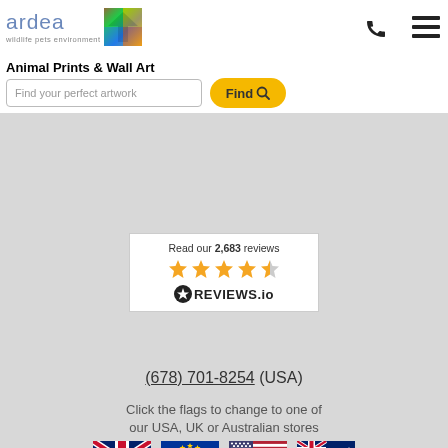[Figure (logo): Ardea wildlife pets environment logo with colorful bird square graphic]
Animal Prints & Wall Art
Find your perfect artwork
[Figure (infographic): Reviews.io widget showing 'Read our 2,683 reviews' with 4.5 orange stars and REVIEWS.io logo]
(678) 701-8254 (USA)
Click the flags to change to one of our USA, UK or Australian stores
[Figure (illustration): Four country flags: UK, EU, USA, Australia]
© Copyright Ardea - All Rights Reserved 2022